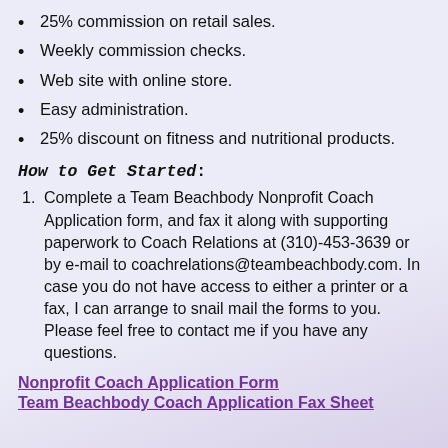25% commission on retail sales.
Weekly commission checks.
Web site with online store.
Easy administration.
25% discount on fitness and nutritional products.
How to Get Started:
Complete a Team Beachbody Nonprofit Coach Application form, and fax it along with supporting paperwork to Coach Relations at (310)-453-3639 or by e-mail to coachrelations@teambeachbody.com. In case you do not have access to either a printer or a fax, I can arrange to snail mail the forms to you. Please feel free to contact me if you have any questions.
Nonprofit Coach Application Form
Team Beachbody Coach Application Fax Sheet